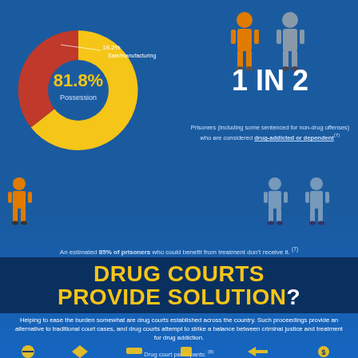[Figure (pie-chart): Drug offense breakdown]
[Figure (infographic): 1 in 2 prisoners infographic showing one orange prisoner and one grey prisoner silhouette]
Prisoners (including some sentenced for non-drug offenses) who are considered drug-addicted or dependent
[Figure (infographic): Row of 10 prisoner figures: 8-9 in orange, 1-2 in grey, illustrating 85% statistic]
An estimated 85% of prisoners who could benefit from treatment don't receive it.
DRUG COURTS PROVIDE SOLUTION?
Helping to ease the burden somewhat are drug courts established across the country. Such proceedings provide an alternative to traditional court cases, and drug courts attempt to strike a balance between criminal justice and treatment for drug addiction.
Drug court participants:
[Figure (infographic): Row of icons at bottom representing drug court participant benefits]